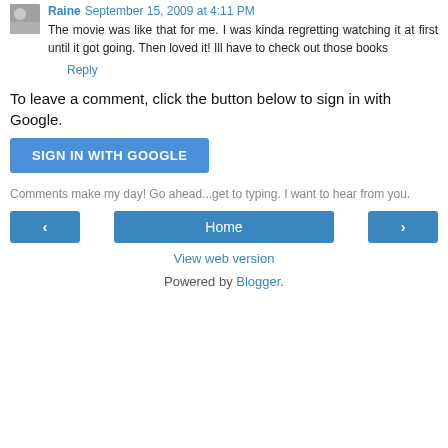Raine September 15, 2009 at 4:11 PM
The movie was like that for me. I was kinda regretting watching it at first until it got going. Then loved it! Ill have to check out those books
Reply
To leave a comment, click the button below to sign in with Google.
SIGN IN WITH GOOGLE
Comments make my day! Go ahead...get to typing. I want to hear from you.
‹
Home
›
View web version
Powered by Blogger.